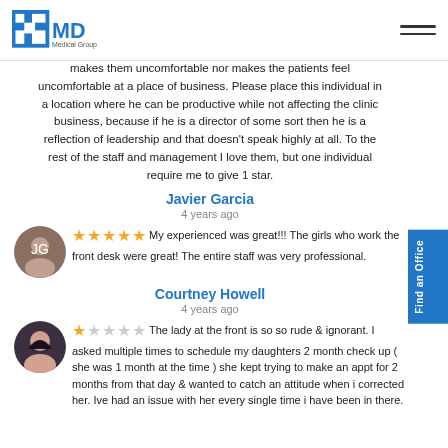CMD Medical Group
makes them uncomfortable nor makes the patients feel uncomfortable at a place of business. Please place this individual in a location where he can be productive while not affecting the clinic business, because if he is a director of some sort then he is a reflection of leadership and that doesn't speak highly at all. To the rest of the staff and management I love them, but one individual require me to give 1 star.
Javier Garcia
4 years ago
★★★★★ My experienced was great!!! The girls who work the front desk were great! The entire staff was very professional.
Courtney Howell
4 years ago
★☆☆☆☆ The lady at the front is so so rude & ignorant. I asked multiple times to schedule my daughters 2 month check up ( she was 1 month at the time ) she kept trying to make an appt for 2 months from that day & wanted to catch an attitude when i corrected her. Ive had an issue with her every single time i have been in there.